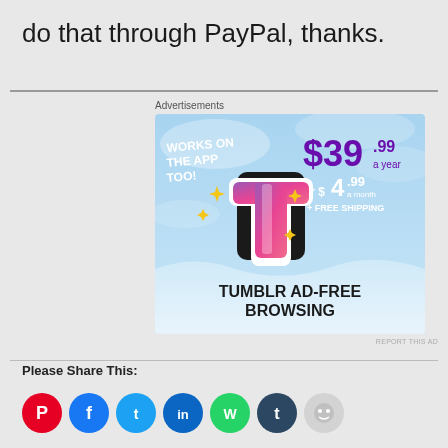do that through PayPal, thanks.
Advertisements
[Figure (screenshot): Tumblr Ad-Free Browsing advertisement banner. Shows Tumblr logo with text: WORKS ON THE APP TOO!, $39.99 a year or $4.99 a month + FREE SHIPPING, TUMBLR AD-FREE BROWSING. Blue sky background with sparkle graphics.]
REPORT THIS AD
Please Share This:
[Figure (other): Social sharing icons: Pinterest (red), Facebook (blue), Twitter (light blue), LinkedIn (dark blue), WhatsApp (green), Tumblr (dark blue/navy), Reddit (light grey)]